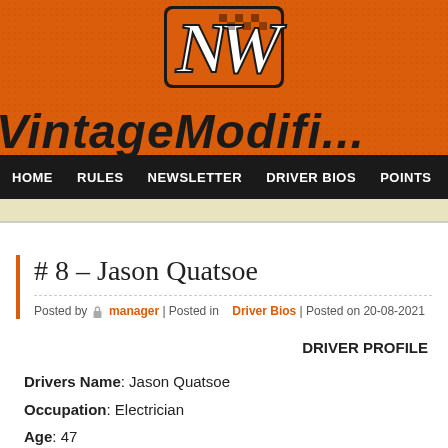[Figure (logo): NW Vintage Modified racing website header banner with orange dotted background, NW logo with checkered flag pattern at top center, and 'VintageModifi...' text in large black italic font at bottom]
HOME   RULES   NEWSLETTER   DRIVER BIOS   POINTS
# 8 – Jason Quatsoe
Posted by manager | Posted in Driver Bios | Posted on 20-08-2021
DRIVER PROFILE
Drivers Name:  Jason Quatsoe
Occupation:  Electrician
Age:  47
Car:  #8
DRIVER HISTORY